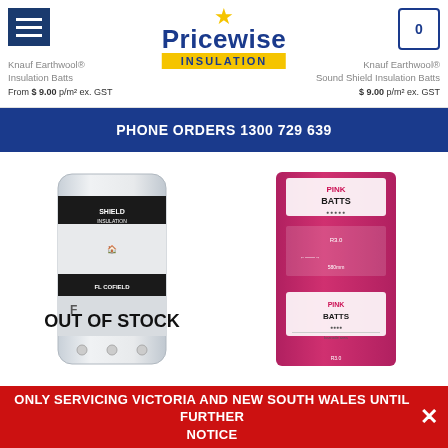[Figure (screenshot): Pricewise Insulation website header with logo, hamburger menu, cart icon, and two product listings (Knauf Earthwool Insulation Batts and Knauf Earthwool Sound Shield Insulation Batts)]
PHONE ORDERS 1300 729 639
[Figure (photo): White roll of insulation product with OUT OF STOCK overlay]
[Figure (photo): Pink Batts insulation product package]
Knauf Earthwool® Floor Shield... Bd 8 Pink Batts® Thermal...
ONLY SERVICING VICTORIA AND NEW SOUTH WALES UNTIL FURTHER NOTICE